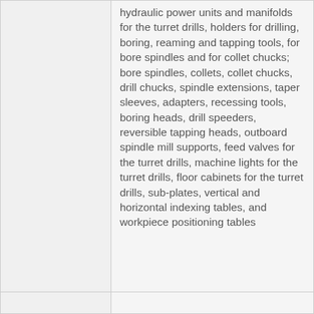hydraulic power units and manifolds for the turret drills, holders for drilling, boring, reaming and tapping tools, for bore spindles and for collet chucks; bore spindles, collets, collet chucks, drill chucks, spindle extensions, taper sleeves, adapters, recessing tools, boring heads, drill speeders, reversible tapping heads, outboard spindle mill supports, feed valves for the turret drills, machine lights for the turret drills, floor cabinets for the turret drills, sub-plates, vertical and horizontal indexing tables, and workpiece positioning tables